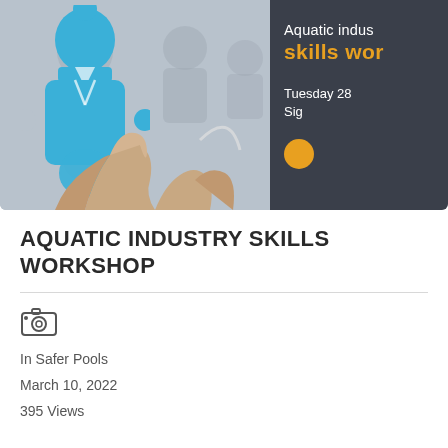[Figure (photo): Banner image showing a hand placing a blue human-figure puzzle piece among grey puzzle pieces, with a dark grey panel on the right showing partial text 'Aquatic indus', 'skills wor' in orange/gold, 'Tuesday 28', 'Sig', and a yellow circle button.]
AQUATIC INDUSTRY SKILLS WORKSHOP
[Figure (illustration): Small camera/photo icon]
In Safer Pools
March 10, 2022
395 Views